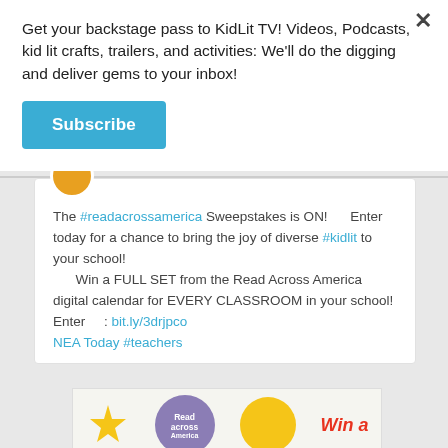Get your backstage pass to KidLit TV! Videos, Podcasts, kid lit crafts, trailers, and activities: We'll do the digging and deliver gems to your inbox!
Subscribe
The #readacrossamerica Sweepstakes is ON!      Enter today for a chance to bring the joy of diverse #kidlit to your school!      Win a FULL SET from the Read Across America digital calendar for EVERY CLASSROOM in your school!      Enter      : bit.ly/3drjpco NEA Today #teachers
[Figure (illustration): Promotional image with colorful shapes: yellow sun shape, purple circle with 'Read across America' text, yellow circle, and red 'Win a' text]